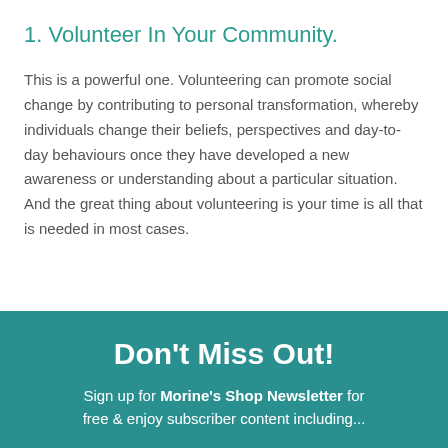1. Volunteer In Your Community.
This is a powerful one. Volunteering can promote social change by contributing to personal transformation, whereby individuals change their beliefs, perspectives and day-to-day behaviours once they have developed a new awareness or understanding about a particular situation. And the great thing about volunteering is your time is all that is needed in most cases.
Don't Miss Out!
Sign up for Morine's Shop Newsletter for free & enjoy subscriber content including...